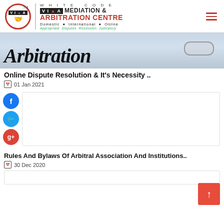[Figure (logo): White Code VIA Mediation & Arbitration Centre logo with circular emblem, divider, and text]
[Figure (photo): Photo of a paper with Arbitration text and glasses]
Online Dispute Resolution & It’s Necessity ..
📅 01 Jan 2021
[Figure (other): Facebook, Twitter, Google+ social share buttons with white card area]
Rules And Bylaws Of Arbitral Association And Institutions..
📅 30 Dec 2020
[Figure (other): Partial white card for third article]